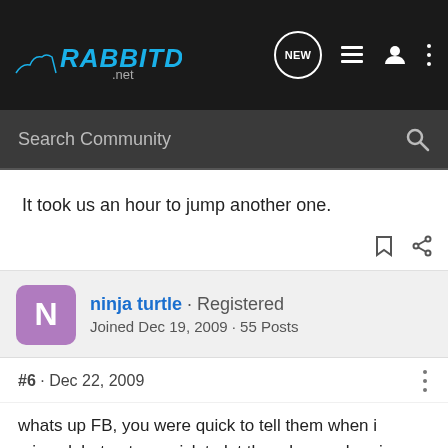RABBITDOGS .net — Search Community
It took us an hour to jump another one.
ninja turtle · Registered
Joined Dec 19, 2009 · 55 Posts
#6 · Dec 22, 2009
whats up FB, you were quick to tell them when i missed, but not so quick to let them know when i connected. after seeing those six month old pups run like they were, i told crofford i was thinking about selling my two males and sticking with females. even though both my males are young, i want more hunt. what